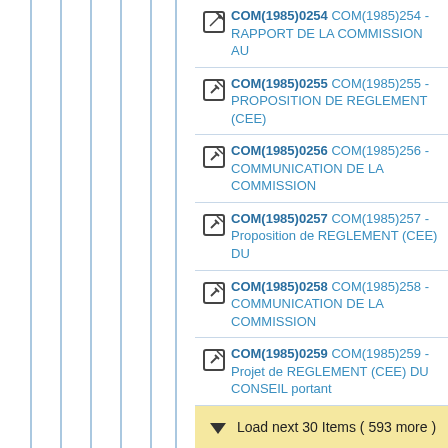COM(1985)0254 COM(1985)254 - RAPPORT DE LA COMMISSION AU
COM(1985)0255 COM(1985)255 - PROPOSITION DE REGLEMENT (CEE)
COM(1985)0256 COM(1985)256 - COMMUNICATION DE LA COMMISSION
COM(1985)0257 COM(1985)257 - Proposition de REGLEMENT (CEE) DU
COM(1985)0258 COM(1985)258 - COMMUNICATION DE LA COMMISSION
COM(1985)0259 COM(1985)259 - Projet de REGLEMENT (CEE) DU CONSEIL portant
Load next 30 Items ( 593 more )
1986
1987
1988
1989